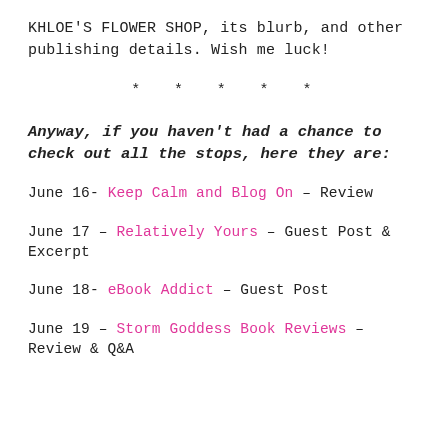KHLOE'S FLOWER SHOP, its blurb, and other publishing details. Wish me luck!
* * * * *
Anyway, if you haven't had a chance to check out all the stops, here they are:
June 16- Keep Calm and Blog On – Review
June 17 – Relatively Yours – Guest Post & Excerpt
June 18- eBook Addict – Guest Post
June 19 – Storm Goddess Book Reviews – Review & Q&A